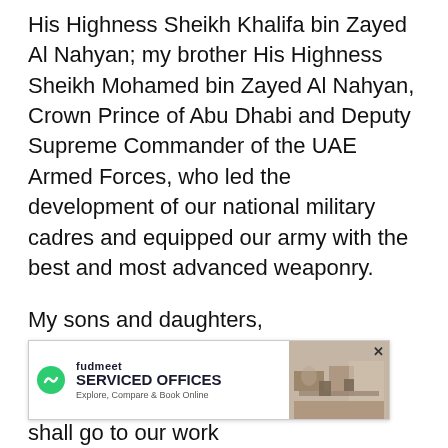His Highness Sheikh Khalifa bin Zayed Al Nahyan; my brother His Highness Sheikh Mohamed bin Zayed Al Nahyan, Crown Prince of Abu Dhabi and Deputy Supreme Commander of the UAE Armed Forces, who led the development of our national military cadres and equipped our army with the best and most advanced weaponry.
My sons and daughters,
Today will be gone forever, and tomorrow will be a new day, and we shall go to our work a... [nation's memo...
[Figure (other): Advertisement banner for fudmeet SERVICED OFFICES with text 'Explore, Compare & Book Online' and an image of a modern office space.]